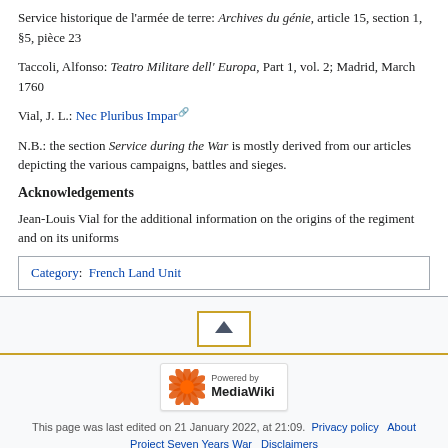Service historique de l'armée de terre: Archives du génie, article 15, section 1, §5, pièce 23
Taccoli, Alfonso: Teatro Militare dell' Europa, Part 1, vol. 2; Madrid, March 1760
Vial, J. L.: Nec Pluribus Impar [external link]
N.B.: the section Service during the War is mostly derived from our articles depicting the various campaigns, battles and sieges.
Acknowledgements
Jean-Louis Vial for the additional information on the origins of the regiment and on its uniforms
Category: French Land Unit
[Figure (other): Back to top button with upward triangle arrow]
[Figure (logo): Powered by MediaWiki logo]
This page was last edited on 21 January 2022, at 21:09. Privacy policy About Project Seven Years War Disclaimers